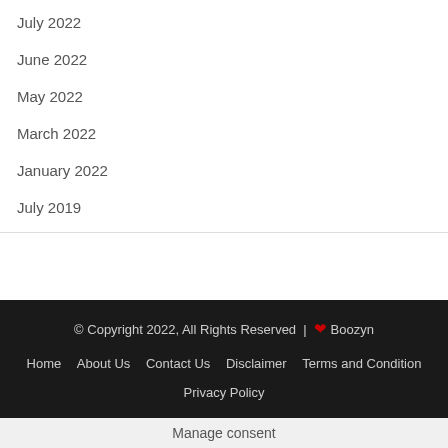July 2022
June 2022
May 2022
March 2022
January 2022
July 2019
© Copyright 2022, All Rights Reserved | ❤ Boozyn
Home  About Us  Contact Us  Disclaimer  Terms and Condition
Privacy Policy
Manage consent